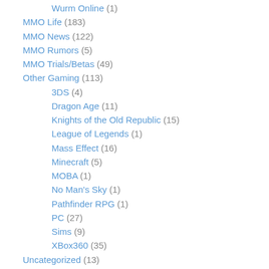Wurm Online (1)
MMO Life (183)
MMO News (122)
MMO Rumors (5)
MMO Trials/Betas (49)
Other Gaming (113)
3DS (4)
Dragon Age (11)
Knights of the Old Republic (15)
League of Legends (1)
Mass Effect (16)
Minecraft (5)
MOBA (1)
No Man's Sky (1)
Pathfinder RPG (1)
PC (27)
Sims (9)
XBox360 (35)
Uncategorized (13)